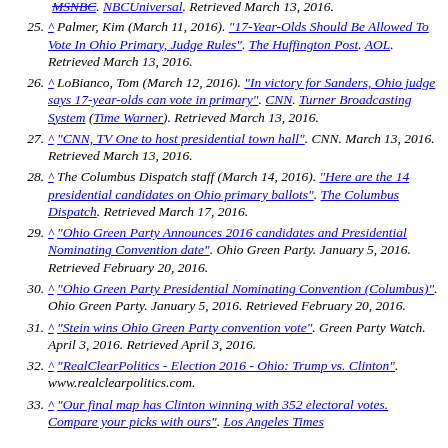^ Palmer, Kim (March 11, 2016). "17-Year-Olds Should Be Allowed To Vote In Ohio Primary, Judge Rules". The Huffington Post. AOL. Retrieved March 13, 2016.
^ LoBianco, Tom (March 12, 2016). "In victory for Sanders, Ohio judge says 17-year-olds can vote in primary". CNN. Turner Broadcasting System (Time Warner). Retrieved March 13, 2016.
^ "CNN, TV One to host presidential town hall". CNN. March 13, 2016. Retrieved March 13, 2016.
^ The Columbus Dispatch staff (March 14, 2016). "Here are the 14 presidential candidates on Ohio primary ballots". The Columbus Dispatch. Retrieved March 17, 2016.
^ "Ohio Green Party Announces 2016 candidates and Presidential Nominating Convention date". Ohio Green Party. January 5, 2016. Retrieved February 20, 2016.
^ "Ohio Green Party Presidential Nominating Convention (Columbus)". Ohio Green Party. January 5, 2016. Retrieved February 20, 2016.
^ "Stein wins Ohio Green Party convention vote". Green Party Watch. April 3, 2016. Retrieved April 3, 2016.
^ "RealClearPolitics - Election 2016 - Ohio: Trump vs. Clinton". www.realclearpolitics.com.
^ "Our final map has Clinton winning with 352 electoral votes. Compare your picks with ours". Los Angeles Times.